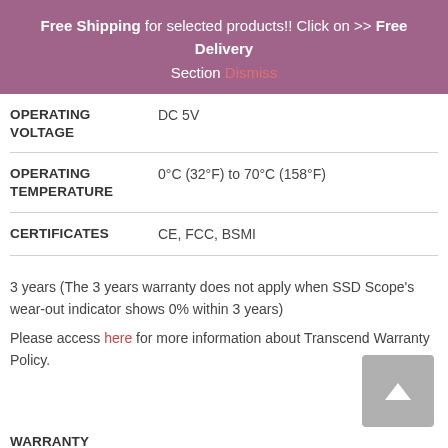Free Shipping for selected products!! Click on >> Free Delivery Section Dismiss
| Specification | Value |
| --- | --- |
| OPERATING VOLTAGE | DC 5V |
| OPERATING TEMPERATURE | 0°C (32°F) to 70°C (158°F) |
| CERTIFICATES | CE, FCC, BSMI |
| WARRANTY | 3 years (The 3 years warranty does not apply when SSD Scope's wear-out indicator shows 0% within 3 years)

Please access here for more information about Transcend Warranty Policy. |
Speed may vary due to host hardware